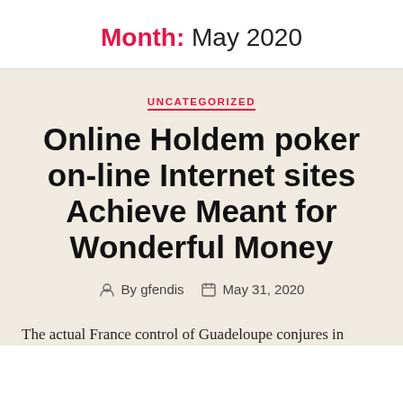Month: May 2020
UNCATEGORIZED
Online Holdem poker on-line Internet sites Achieve Meant for Wonderful Money
By gfendis  May 31, 2020
The actual France control of Guadeloupe conjures in